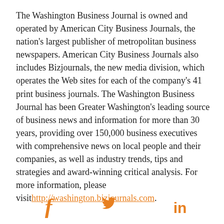The Washington Business Journal is owned and operated by American City Business Journals, the nation's largest publisher of metropolitan business newspapers. American City Business Journals also includes Bizjournals, the new media division, which operates the Web sites for each of the company's 41 print business journals. The Washington Business Journal has been Greater Washington's leading source of business news and information for more than 30 years, providing over 150,000 business executives with comprehensive news on local people and their companies, as well as industry trends, tips and strategies and award-winning critical analysis. For more information, please visit http://washington.bizjournals.com.
[Figure (infographic): Social media icons: Facebook (f), Twitter (bird), LinkedIn (in) in orange color]